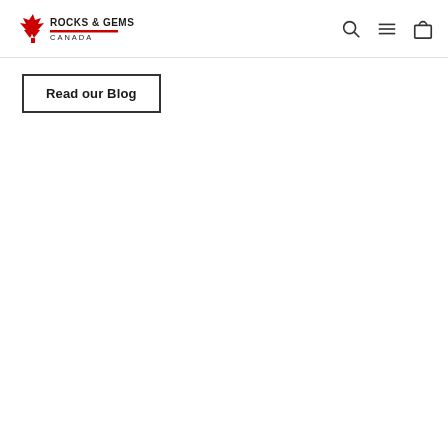ROCKS & GEMS CANADA — navigation header with logo, search, menu, and cart icons
Read our Blog